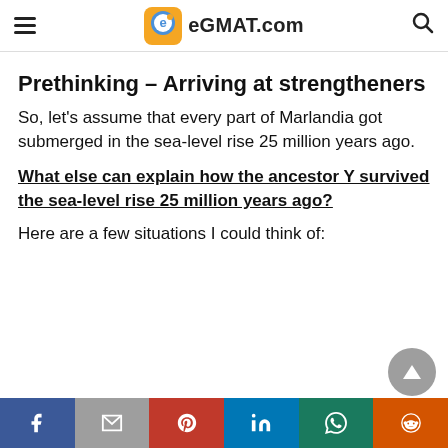eGMAT.com
Prethinking – Arriving at strengtheners
So, let's assume that every part of Marlandia got submerged in the sea-level rise 25 million years ago.
What else can explain how the ancestor Y survived the sea-level rise 25 million years ago?
Here are a few situations I could think of:
Social sharing bar: Facebook, Mail, Pinterest, LinkedIn, WhatsApp, Reddit